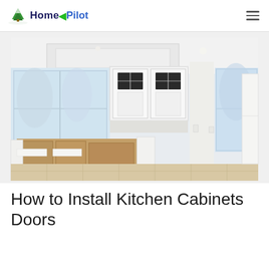Home Pilot
[Figure (photo): Interior photo of a kitchen under construction showing white upper cabinets, bare wood cabinet bases/island frames without doors, large windows, and light wood flooring]
How to Install Kitchen Cabinets Doors